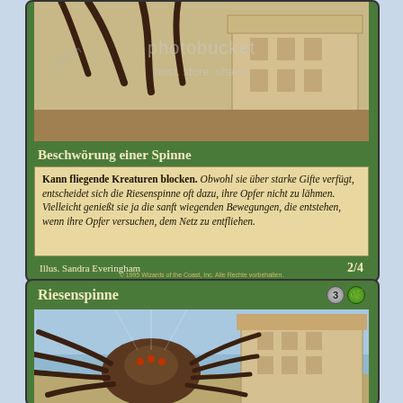[Figure (illustration): Top portion of a Magic: The Gathering card showing a giant spider on a desert/sandy background with a building, partially cut. Photobucket watermark overlay.]
Beschwörung einer Spinne
Kann fliegende Kreaturen blocken. Obwohl sie über starke Gifte verfügt, entscheidet sich die Riesenspinne oft dazu, ihre Opfer nicht zu lähmen. Vielleicht genießt sie ja die sanft wiegenden Bewegungen, die entstehen, wenn ihre Opfer versuchen, dem Netz zu entfliehen.
Illus. Sandra Everingham
2/4
© 1995 Wizards of the Coast, Inc. Alle Rechte vorbehalten.
Riesenspinne
3🌿
[Figure (illustration): Bottom Magic: The Gathering card showing Riesenspinne (Giant Spider) — a large brown spider in a desert scene with a building in the background, blue sky.]